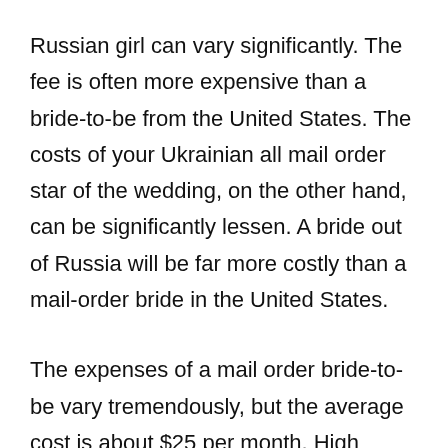Russian girl can vary significantly. The fee is often more expensive than a bride-to-be from the United States. The costs of your Ukrainian all mail order star of the wedding, on the other hand, can be significantly lessen. A bride out of Russia will be far more costly than a mail-order bride in the United States.
The expenses of a mail order bride-to-be vary tremendously, but the average cost is about $25 per month. High grade memberships permit you access to other gaming features and are usually the most expensive choice. Some solutions, such